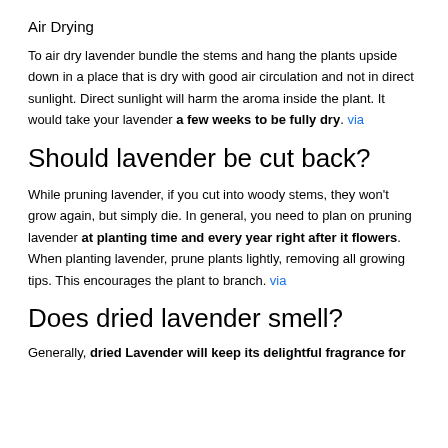Air Drying
To air dry lavender bundle the stems and hang the plants upside down in a place that is dry with good air circulation and not in direct sunlight. Direct sunlight will harm the aroma inside the plant. It would take your lavender a few weeks to be fully dry. via
Should lavender be cut back?
While pruning lavender, if you cut into woody stems, they won't grow again, but simply die. In general, you need to plan on pruning lavender at planting time and every year right after it flowers. When planting lavender, prune plants lightly, removing all growing tips. This encourages the plant to branch. via
Does dried lavender smell?
Generally, dried Lavender will keep its delightful fragrance for